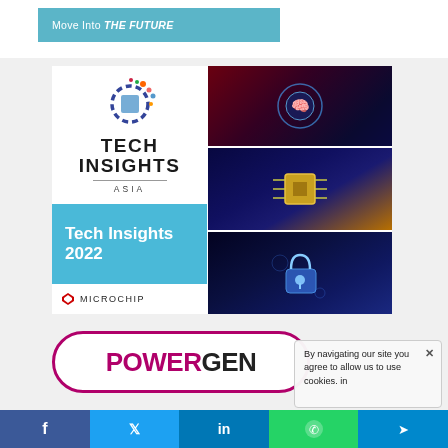[Figure (illustration): Blue banner with text 'Move Into THE FUTURE' in white, cyan background]
[Figure (illustration): Tech Insights Asia 2022 promotional block featuring gear logo, tech imagery (AI brain, microchip, cybersecurity lock), blue caption box, and Microchip logo]
[Figure (logo): PowerGen logo in pink/magenta rounded pill border with POWERCEN text]
By navigating our site you agree to allow us to use cookies. in
[Figure (infographic): Social media share bar with Facebook, Twitter, LinkedIn, WhatsApp, and Telegram buttons]